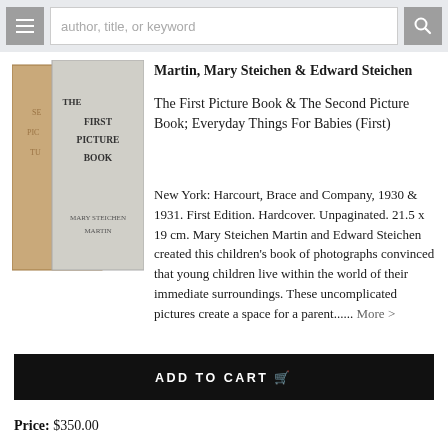author, title, or keyword
[Figure (photo): Two old hardcover books side by side — 'The First Picture Book' and 'The Second Picture Book' by Mary Steichen Martin]
Martin, Mary Steichen & Edward Steichen
The First Picture Book & The Second Picture Book; Everyday Things For Babies (First)
New York: Harcourt, Brace and Company, 1930 & 1931. First Edition. Hardcover. Unpaginated. 21.5 x 19 cm. Mary Steichen Martin and Edward Steichen created this children's book of photographs convinced that young children live within the world of their immediate surroundings. These uncomplicated pictures create a space for a parent...... More >
ADD TO CART
Price: $350.00